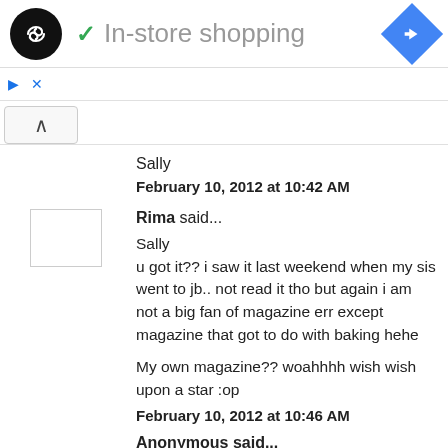[Figure (screenshot): Ad banner showing a black circular logo with infinity/code symbol, green checkmark with text 'In-store shopping', and a blue diamond navigation icon on the right]
Sally
February 10, 2012 at 10:42 AM
Rima said...
Sally
u got it?? i saw it last weekend when my sis went to jb.. not read it tho but again i am not a big fan of magazine err except magazine that got to do with baking hehe
My own magazine?? woahhhh wish wish upon a star :op
February 10, 2012 at 10:46 AM
Anonymous said...
Yes Rima, I got it just to look at your cake photos n recipe there although I can still see the same version on your web which is much cleaner :)